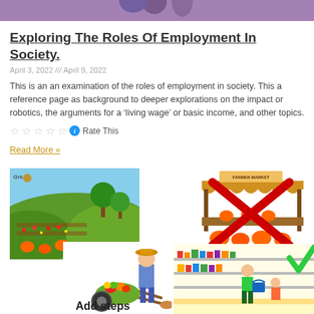[Figure (photo): Top banner image showing people, partially cropped]
Exploring The Roles Of Employment In Society.
April 3, 2022 /// April 9, 2022
This is an an examination of the roles of employment in society. This a reference page as background to deeper explorations on the impact or robotics, the arguments for a 'living wage' or basic income, and other topics.
☆☆☆☆☆ ℹ Rate This
Read More »
[Figure (illustration): Cartoon farm scene with colorful garden and crops]
[Figure (illustration): Farmer's market stall with a large red X over it and pumpkins]
[Figure (illustration): Cartoon farmer pushing wheelbarrow with vegetables]
[Figure (illustration): Supermarket aisle with people shopping and green checkmark]
Add steps